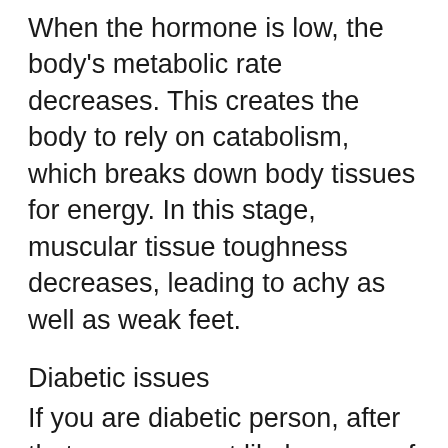When the hormone is low, the body's metabolic rate decreases. This creates the body to rely on catabolism, which breaks down body tissues for energy. In this stage, muscular tissue toughness decreases, leading to achy as well as weak feet.
Diabetic issues
If you are diabetic person, after that you are most likely aware of the inconvenience of smelly feet. This condition can make walking, standing, or resting awkward. Apart from smell, diabetes can create issues with your blood circulation. To reduce the occurrence of these troubles, you should utilize a moisturizing lotion or soap on your feet. If you have actually split heels, you must prevent using medicated pads or bathroom